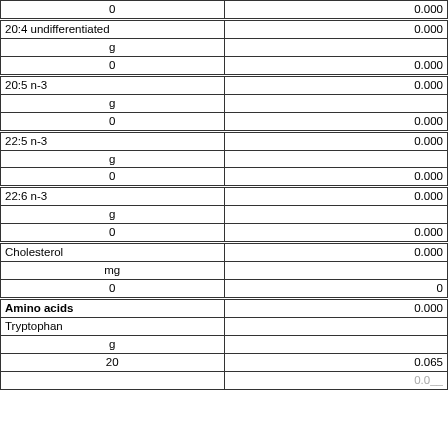| Nutrient | Value |
| --- | --- |
|  | 0 | 0.000 |
| 20:4 undifferentiated |  | 0.000 |
| g |  |  |
| 0 |  | 0.000 |
| 20:5 n-3 |  | 0.000 |
| g |  |  |
| 0 |  | 0.000 |
| 22:5 n-3 |  | 0.000 |
| g |  |  |
| 0 |  | 0.000 |
| 22:6 n-3 |  | 0.000 |
| g |  |  |
| 0 |  | 0.000 |
| Cholesterol |  | 0.000 |
| mg |  |  |
| 0 |  | 0 |
| Amino acids |  | 0.000 |
| Tryptophan |  |  |
| g |  |  |
| 20 |  | 0.065 |
|  |  | 0.0__ |